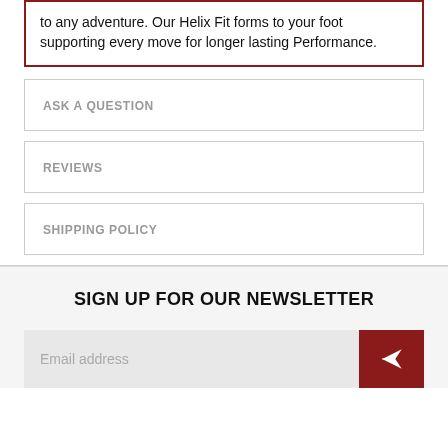to any adventure. Our Helix Fit forms to your foot supporting every move for longer lasting Performance.
ASK A QUESTION
REVIEWS
SHIPPING POLICY
SIGN UP FOR OUR NEWSLETTER
Email address